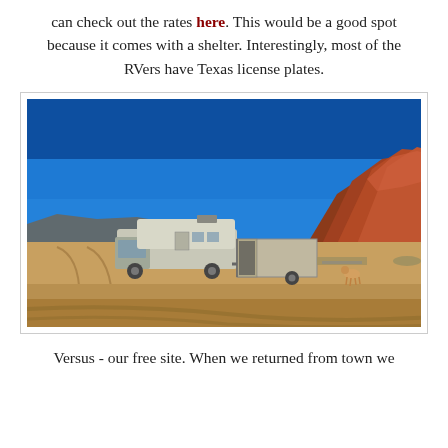can check out the rates here. This would be a good spot because it comes with a shelter. Interestingly, most of the RVers have Texas license plates.
[Figure (photo): An RV (Class C motorhome) with a trailer attached parked on a desert dirt road. Red rock formations visible in the background under a deep blue sky. Sandy desert terrain with sparse dry vegetation.]
Versus - our free site. When we returned from town we